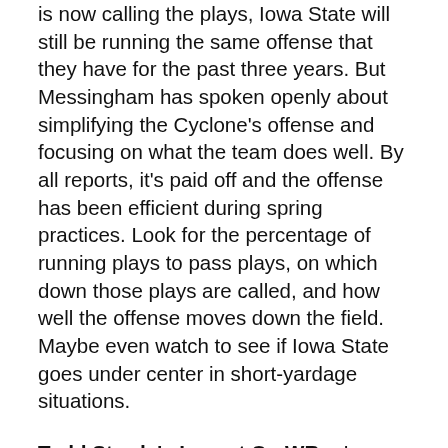is now calling the plays, Iowa State will still be running the same offense that they have for the past three years. But Messingham has spoken openly about simplifying the Cyclone's offense and focusing on what the team does well. By all reports, it's paid off and the offense has been efficient during spring practices. Look for the percentage of running plays to pass plays, on which down those plays are called, and how well the offense moves down the field. Maybe even watch to see if Iowa State goes under center in short-yardage situations.
Todd Sturdy's Impact On WRs: Iowa State hasn't had a true impact wide receiver since Todd Blythe began crashing into waitresses in the AFL after the 2007 season. Darius Reynolds filled that role during the first half of last season, but was streaky down the stretch.